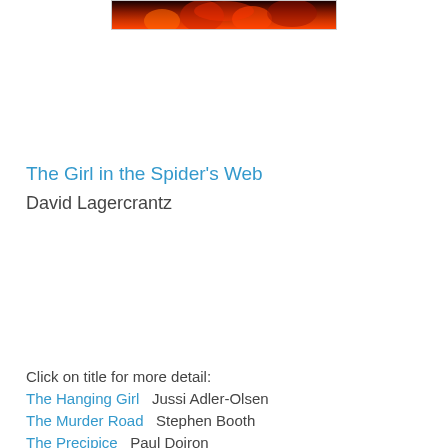[Figure (photo): Book cover image showing dark red/fire tones at the top of the page, partially cropped]
The Girl in the Spider's Web
David Lagercrantz
Click on title for more detail:
The Hanging Girl    Jussi Adler-Olsen
The Murder Road    Stephen Booth
The Precipice    Paul Doiron